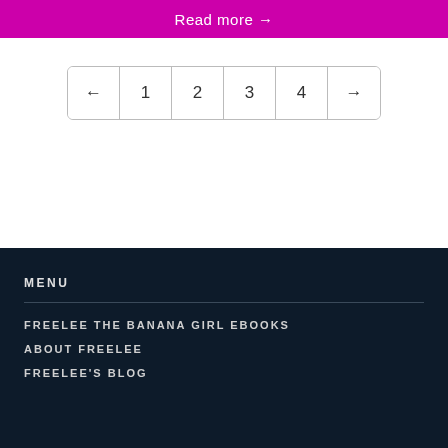Read more →
← 1 2 3 4 →
MENU
FREELEE THE BANANA GIRL EBOOKS
ABOUT FREELEE
FREELEE'S BLOG